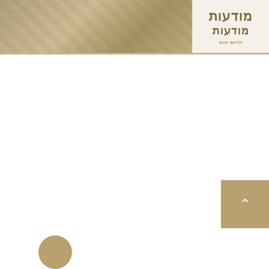[Figure (photo): Header with sepia-toned photo of people on left side, and Hebrew text logo/title on right side with beige/tan background]
vc_row css_animation="" row_type="row"]
use_row_as_full_screen_section="no"
type="full_width" text_align="left"
["padding_top="15" padding_bottom="15
vc_single_image]["vc_column width="1/2]
image="23083" img_size="full"
alignment="center" onclick="custom_link"
img_link_target="_blank"
qode_css_animation=""
link="https://player.vimeo.com/video/2128
vc_column][vc_column/]["81646
vc_single_image]["width="1/2
image="24081" img_size="full"
..."alignment="center